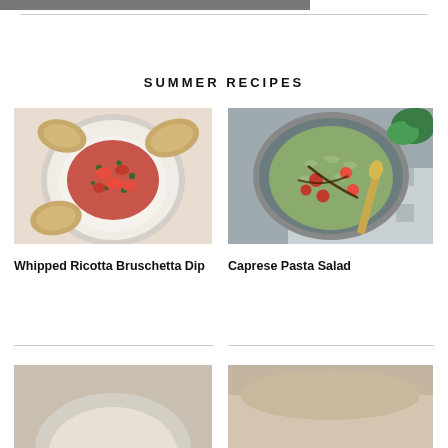[Figure (photo): Partial food photo at top of page]
SUMMER RECIPES
[Figure (photo): Whipped Ricotta Bruschetta Dip - overhead shot of a round dish with white ricotta topped with red tomatoes and herbs, surrounded by toasted bread slices]
Whipped Ricotta Bruschetta Dip
[Figure (photo): Caprese Pasta Salad - overhead shot of a bowl of pasta salad with cherry tomatoes, fresh mozzarella, and greens with balsamic drizzle, on a checkered cloth with a gold spoon]
Caprese Pasta Salad
[Figure (photo): Partial food photo at bottom left, cropped]
[Figure (photo): Partial food photo at bottom right, cropped]